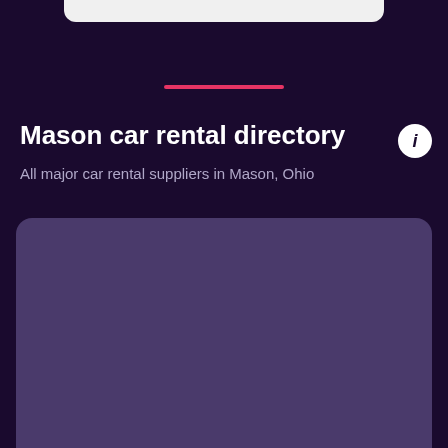Mason car rental directory
All major car rental suppliers in Mason, Ohio
[Figure (map): A dark purple rounded card placeholder representing a map area for Mason, Ohio car rental directory.]